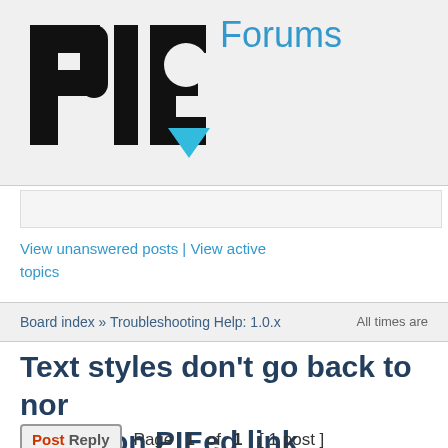[Figure (logo): PIE logo — bold black letters PIE with a cyan/blue triangle accent, forum software logo]
Forums
View unanswered posts | View active topics
It is currently T
Board index » Troubleshooting Help: 1.0.x    All times are
Text styles don't go back to normal post-hover on PIEed link
Post Reply   Page 1 of 1  [ 1 post ]
Print view
| Author | Message |
| --- | --- |
| adammessinger | Text styles don't go back to normal post-hover on PIE
I've run into a PIE problem that only shows up in IE8. I'v |